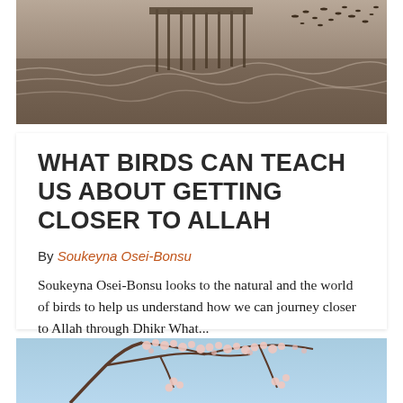[Figure (photo): Sepia-toned photograph of a pier over rough ocean water with a flock of birds in the upper right sky]
WHAT BIRDS CAN TEACH US ABOUT GETTING CLOSER TO ALLAH
By Soukeyna Osei-Bonsu
Soukeyna Osei-Bonsu looks to the natural and the world of birds to help us understand how we can journey closer to Allah through Dhikr What...
[Figure (photo): Photo of cherry blossom branches with pink flowers against a light blue sky]